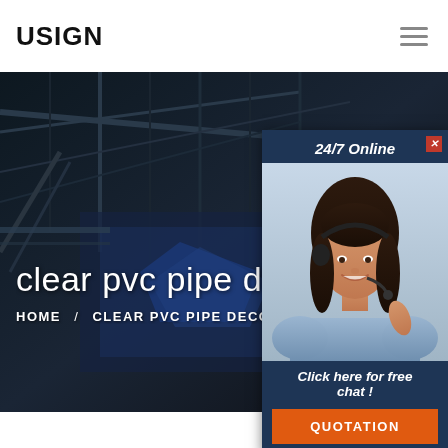USIGN
[Figure (screenshot): Website screenshot showing industrial warehouse background with dark overlay, hero section with page title and breadcrumb navigation, and a 24/7 online chat popup widget on the right side with an agent photo and quotation button.]
clear pvc pipe decoratin
HOME / CLEAR PVC PIPE DECORATI
24/7 Online
Click here for free chat !
QUOTATION